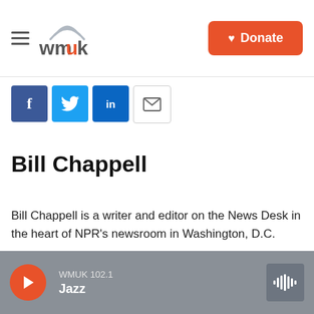WMUK | Donate
[Figure (logo): WMUK radio station logo with signal wave graphic]
[Figure (infographic): Social sharing buttons: Facebook, Twitter, LinkedIn, Email]
Bill Chappell
Bill Chappell is a writer and editor on the News Desk in the heart of NPR's newsroom in Washington, D.C.
See stories by Bill Chappell
WMUK 102.1 Jazz